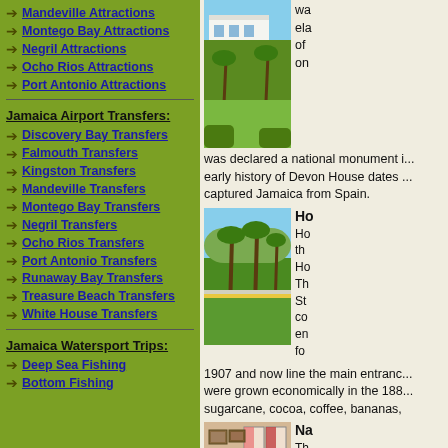Mandeville Attractions
Montego Bay Attractions
Negril Attractions
Ocho Rios Attractions
Port Antonio Attractions
Jamaica Airport Transfers:
Discovery Bay Transfers
Falmouth Transfers
Kingston Transfers
Mandeville Transfers
Montego Bay Transfers
Negril Transfers
Ocho Rios Transfers
Port Antonio Transfers
Runaway Bay Transfers
Treasure Beach Transfers
White House Transfers
Jamaica Watersport Trips:
Deep Sea Fishing
Bottom Fishing
[Figure (photo): Exterior view of a historic white colonial-style house with palm trees and gardens]
was declared a national monument i... early history of Devon House dates ... captured Jamaica from Spain.
[Figure (photo): Garden pathway with tall palm trees and tropical plants, white garden ornaments]
Ho
Ho... th... Ho... Th... St... co... en... fo... 1907 and now line the main entranc... were grown economically in the 188... sugarcane, cocoa, coffee, bananas,
[Figure (photo): Interior room with framed pictures on walls and large pink/red curtained windows]
Na
Th... ol... gr... 18...